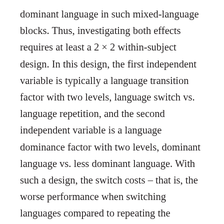dominant language in such mixed-language blocks. Thus, investigating both effects requires at least a 2 × 2 within-subject design. In this design, the first independent variable is typically a language transition factor with two levels, language switch vs. language repetition, and the second independent variable is a language dominance factor with two levels, dominant language vs. less dominant language. With such a design, the switch costs – that is, the worse performance when switching languages compared to repeating the language – are indicated by a main effect of language transition. Critically, the asymmetry in language switch costs is then indicated by an interaction between language transition and language dominance, and the (reversed) language dominance